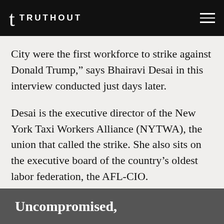TRUTHOUT
City were the first workforce to strike against Donald Trump,” says Bhairavi Desai in this interview conducted just days later.
Desai is the executive director of the New York Taxi Workers Alliance (NYTWA), the union that called the strike. She also sits on the executive board of the country’s oldest labor federation, the AFL-CIO.
Uncompromised,